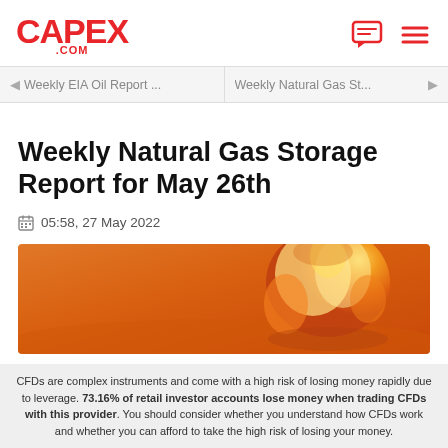CAPEX.COM
◄ Weekly EIA Oil Report ...   Weekly Natural Gas St... ►
Weekly Natural Gas Storage Report for May 26th
05:58, 27 May 2022
[Figure (photo): Orange flame/fire background image used as article hero photo for Weekly Natural Gas Storage Report]
CFDs are complex instruments and come with a high risk of losing money rapidly due to leverage. 73.16% of retail investor accounts lose money when trading CFDs with this provider. You should consider whether you understand how CFDs work and whether you can afford to take the high risk of losing your money.